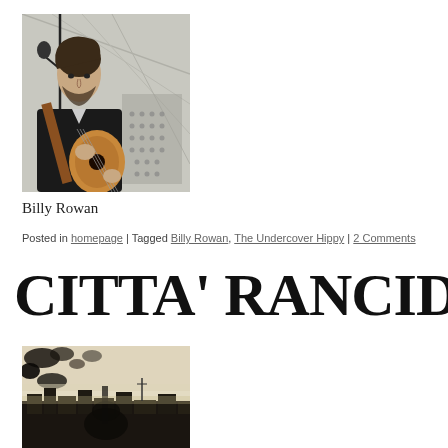[Figure (photo): A young man with beard playing acoustic guitar at a microphone stand, wearing a dark jacket, performing outdoors under a glass roof structure.]
Billy Rowan
Posted in homepage | Tagged Billy Rowan, The Undercover Hippy | 2 Comments
CITTA' RANCIDA
[Figure (photo): A dark, grainy, atmospheric urban photograph showing a cityscape with buildings silhouetted against a pale sky, seen through what appears to be a wet or textured window.]